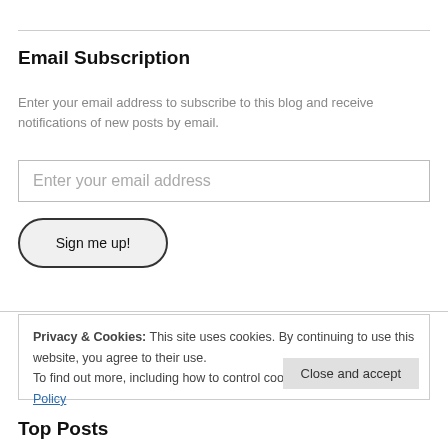Email Subscription
Enter your email address to subscribe to this blog and receive notifications of new posts by email.
Enter your email address
Sign me up!
Privacy & Cookies: This site uses cookies. By continuing to use this website, you agree to their use.
To find out more, including how to control cookies, see here: Cookie Policy
Close and accept
Top Posts